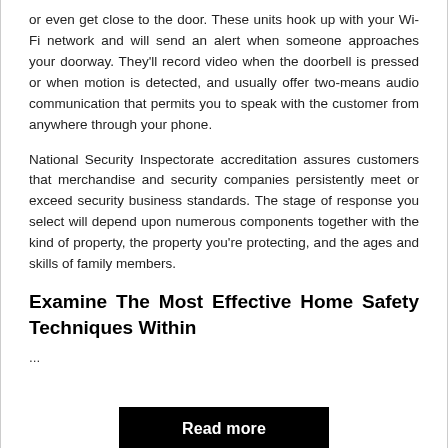or even get close to the door. These units hook up with your Wi-Fi network and will send an alert when someone approaches your doorway. They'll record video when the doorbell is pressed or when motion is detected, and usually offer two-means audio communication that permits you to speak with the customer from anywhere through your phone.
National Security Inspectorate accreditation assures customers that merchandise and security companies persistently meet or exceed security business standards. The stage of response you select will depend upon numerous components together with the kind of property, the property you're protecting, and the ages and skills of family members.
Examine The Most Effective Home Safety Techniques Within
...
Read more